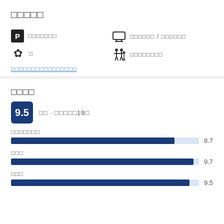□□□□□
P □□□□□□□
❋ □
□□□□□□ / □□□□□□
□□□□□□□□
□□□□□□□□□□□□□□□□
□□□□
9.5 □□ · □□□□□19□
□□□□□□□
[Figure (bar-chart): ]
□□□ 8.7 / □□□ 9.7 / □□□ 9.5